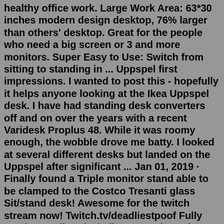healthy office work. Large Work Area: 63*30 inches modern design desktop, 76% larger than others' desktop. Great for the people who need a big screen or 3 and more monitors. Super Easy to Use: Switch from sitting to standing in ... Uppspel first impressions. I wanted to post this - hopefully it helps anyone looking at the Ikea Uppspel desk. I have had standing desk converters off and on over the years with a recent Varidesk Proplus 48. While it was roomy enough, the wobble drove me batty. I looked at several different desks but landed on the Uppspel after significant ... Jan 01, 2019 · Finally found a Triple monitor stand able to be clamped to the Costco Tresanti glass Sit/stand desk! Awesome for the twitch stream now! Twitch.tv/deadliestpoof Fully Jarvis standing desk discount! Please be aware there is a 15% off sale for all Fully desks. Use coupon code: Summer15 for the discount. Applies to all desk on their website. Thanks. 4 comments Continue browsing in r/StandingDesk About Community r/StandingDeskThe Tresanti desk looks a lot like the